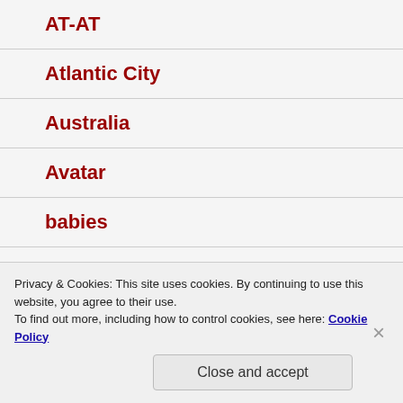AT-AT
Atlantic City
Australia
Avatar
babies
bacon
Privacy & Cookies: This site uses cookies. By continuing to use this website, you agree to their use.
To find out more, including how to control cookies, see here: Cookie Policy
Close and accept